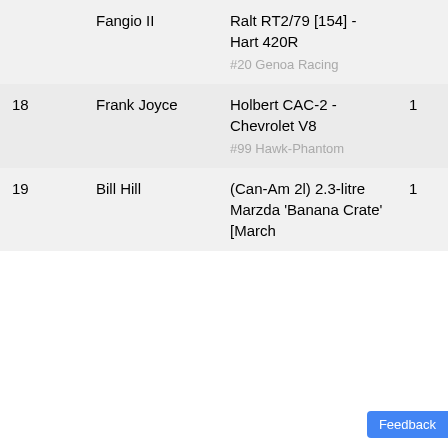| # | Driver | Car | Laps | Result |
| --- | --- | --- | --- | --- |
|  | Fangio II | Ralt RT2/79 [154] - Hart 420R
#20 Genoa Racing |  |  |
| 18 | Frank Joyce | Holbert CAC-2 - Chevrolet V8
#99 Hawk-Phantom | 1 | DNF |
| 19 | Bill Hill | (Can-Am 2l) 2.3-litre Marzda 'Banana Crate' [March | 1 | DNF |